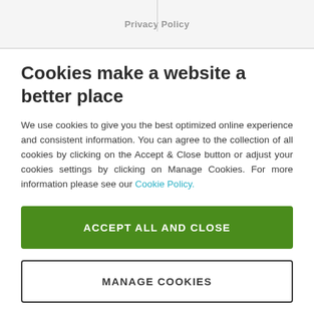Privacy Policy
Cookies make a website a better place
We use cookies to give you the best optimized online experience and consistent information. You can agree to the collection of all cookies by clicking on the Accept & Close button or adjust your cookies settings by clicking on Manage Cookies. For more information please see our Cookie Policy.
ACCEPT ALL AND CLOSE
MANAGE COOKIES